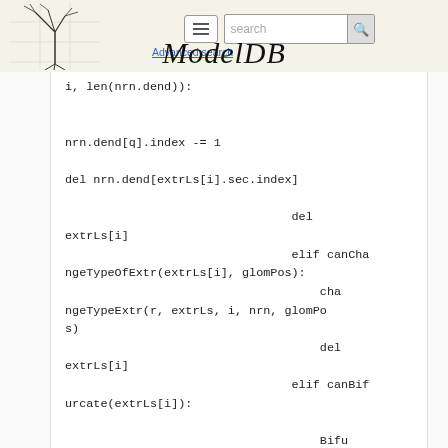ModelDB — Advanced search
i, len(nrn.dend)):

nrn.dend[q].index -= 1

del nrn.dend[extrLs[i].sec.index]

                                del extrLs[i]
                                elif canChangeTypeOfExtr(extrLs[i], glomPos):
                                    changeTypeExtr(r, extrLs, i, nrn, glomPos)
                                del extrLs[i]
                                elif canBifurcate(extrLs[i]):

                                    Bifurcate(r, extrLs, i, nrn)
                                del